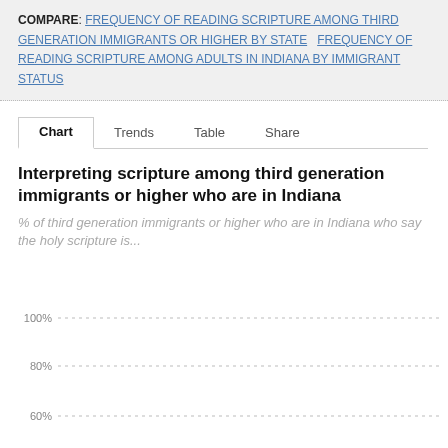COMPARE: FREQUENCY OF READING SCRIPTURE AMONG THIRD GENERATION IMMIGRANTS OR HIGHER BY STATE   FREQUENCY OF READING SCRIPTURE AMONG ADULTS IN INDIANA BY IMMIGRANT STATUS
Chart   Trends   Table   Share
Interpreting scripture among third generation immigrants or higher who are in Indiana
% of third generation immigrants or higher who are in Indiana who say the holy scripture is...
[Figure (continuous-plot): Partial bar chart area showing y-axis gridlines at 100%, 80%, and 60% with dotted lines. The chart body is mostly cut off at the bottom of the page.]